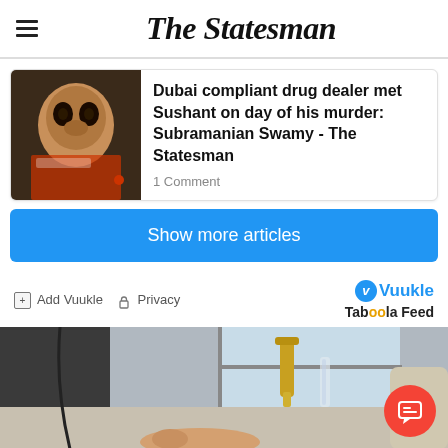The Statesman
Dubai compliant drug dealer met Sushant on day of his murder: Subramanian Swamy - The Statesman
1 Comment
Show more articles
Add Vuukle  Privacy
[Figure (photo): Bottom portion showing a photo of what appears to be a faucet or tap fixture on a surface, with blurred background]
[Figure (logo): Vuukle logo with blue circle icon]
[Figure (logo): Taboola Feed logo]